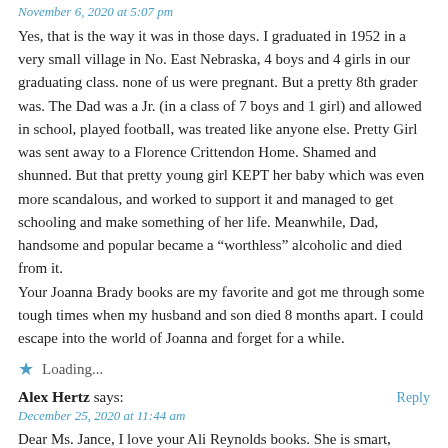November 6, 2020 at 5:07 pm
Yes, that is the way it was in those days. I graduated in 1952 in a very small village in No. East Nebraska, 4 boys and 4 girls in our graduating class. none of us were pregnant. But a pretty 8th grader was. The Dad was a Jr. (in a class of 7 boys and 1 girl) and allowed in school, played football, was treated like anyone else. Pretty Girl was sent away to a Florence Crittendon Home. Shamed and shunned. But that pretty young girl KEPT her baby which was even more scandalous, and worked to support it and managed to get schooling and make something of her life. Meanwhile, Dad, handsome and popular became a “worthless” alcoholic and died from it.
Your Joanna Brady books are my favorite and got me through some tough times when my husband and son died 8 months apart. I could escape into the world of Joanna and forget for a while.
Loading...
Alex Hertz says:
December 25, 2020 at 11:44 am
Dear Ms. Jance, I love your Ali Reynolds books. She is smart, attractive, ethical and nearly fearless (which often gets her in trouble). Also enjoy the Southwest setting. I have not read all her books, but plan to, especially now.